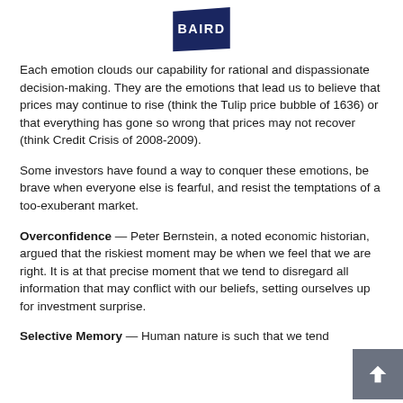[Figure (logo): Baird logo — dark navy blue pennant/flag shape with white text 'BAIRD']
Each emotion clouds our capability for rational and dispassionate decision-making. They are the emotions that lead us to believe that prices may continue to rise (think the Tulip price bubble of 1636) or that everything has gone so wrong that prices may not recover (think Credit Crisis of 2008-2009).
Some investors have found a way to conquer these emotions, be brave when everyone else is fearful, and resist the temptations of a too-exuberant market.
Overconfidence — Peter Bernstein, a noted economic historian, argued that the riskiest moment may be when we feel that we are right. It is at that precise moment that we tend to disregard all information that may conflict with our beliefs, setting ourselves up for investment surprise.
Selective Memory — Human nature is such that we tend